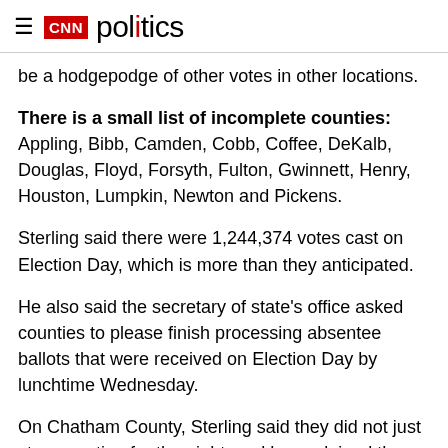CNN politics
be a hodgepodge of other votes in other locations.
There is a small list of incomplete counties: Appling, Bibb, Camden, Cobb, Coffee, DeKalb, Douglas, Floyd, Forsyth, Fulton, Gwinnett, Henry, Houston, Lumpkin, Newton and Pickens.
Sterling said there were 1,244,374 votes cast on Election Day, which is more than they anticipated.
He also said the secretary of state's office asked counties to please finish processing absentee ballots that were received on Election Day by lunchtime Wednesday.
On Chatham County, Sterling said they did not just stop counting for the night, and he explained they